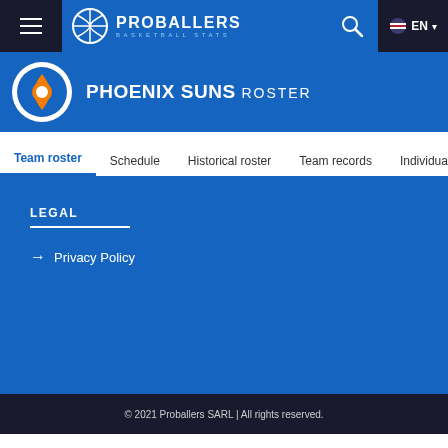PROBALLERS BASKETBALL STATS
PHOENIX SUNS ROSTER
Team roster | Schedule | Historical roster | Team records | Individual records
LEGAL
Privacy Policy
© 2021 Proballers SARL | All rights reserved.